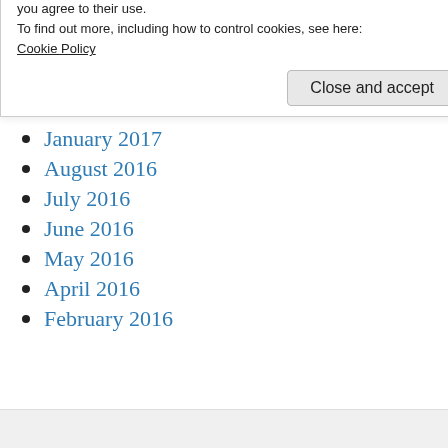June 2017
May 2017
April 2017
March 2017
January 2017
August 2016
July 2016
June 2016
May 2016
April 2016
February 2016
Privacy & Cookies: This site uses cookies. By continuing to use this website, you agree to their use.
To find out more, including how to control cookies, see here:
Cookie Policy